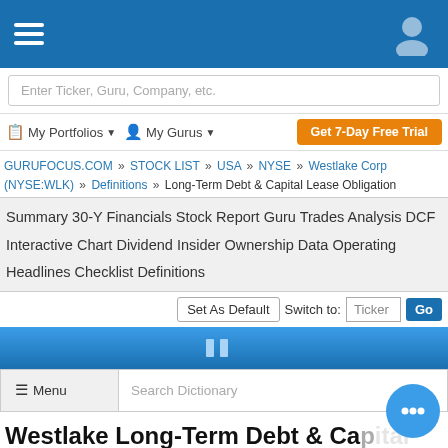GuruFocus navigation bar with hamburger menu and user icon
Enter Ticker, Guru, Company, etc.
My Portfolios ▼   My Gurus ▼   Get 7-Day Free Trial
GURUFOCUS.COM » STOCK LIST » USA » NYSE » Westlake Corp (NYSE:WLK) » Definitions » Long-Term Debt & Capital Lease Obligation
Summary   30-Y Financials   Stock Report   Guru Trades   Analysis   DCF   Interactive Chart   Dividend   Insider   Ownership   Data   Operating   Headlines   Checklist   Definitions
Set As Default   Switch to: Ticker   Go
≡ Menu   Search Dictionary
Westlake Long-Term Debt & Capital Lease Obligation : $5.352 Mil (As of